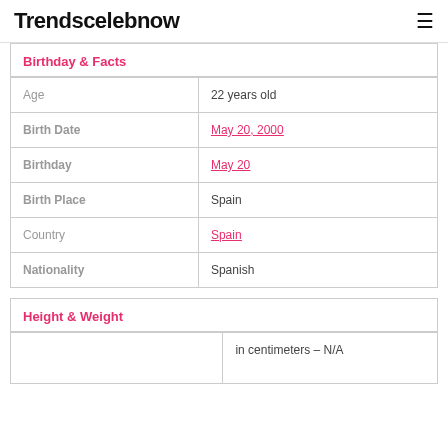Trendscelebnow
Birthday & Facts
|  |  |
| --- | --- |
| Age | 22 years old |
| Birth Date | May 20, 2000 |
| Birthday | May 20 |
| Birth Place | Spain |
| Country | Spain |
| Nationality | Spanish |
Height & Weight
|  |  |
| --- | --- |
|  | in centimeters – N/A |